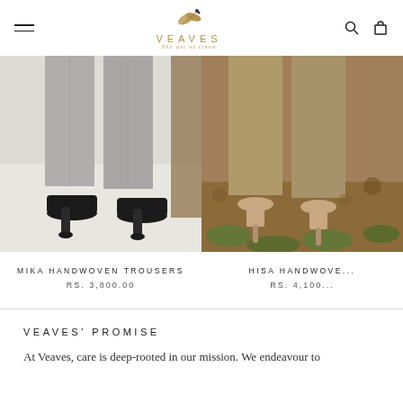VEAVES – The art of linen (navigation bar with hamburger menu, logo, search and cart icons)
[Figure (photo): Close-up of a person's lower legs wearing grey linen wide-leg trousers and black open-toe block-heel mules, standing on a white/light grey floor]
[Figure (photo): Close-up of a person's lower legs wearing khaki/olive linen trousers and nude heeled sandals, standing outdoors on rocky earth with greenery]
MIKA HANDWOVEN TROUSERS
RS. 3,800.00
HISA HANDWOVE...
RS. 4,100...
VEAVES' PROMISE
At Veaves, care is deep-rooted in our mission. We endeavour to